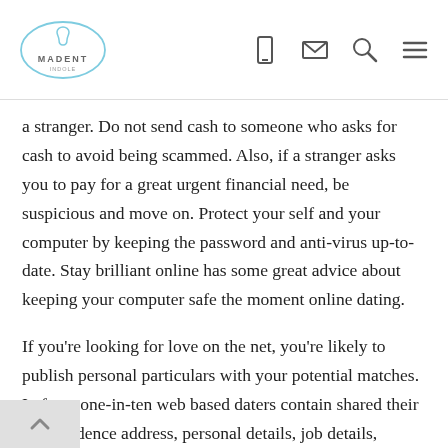MADENT logo with mobile, email, search, and menu icons
a stranger. Do not send cash to someone who asks for cash to avoid being scammed. Also, if a stranger asks you to pay for a great urgent financial need, be suspicious and move on. Protect your self and your computer by keeping the password and anti-virus up-to-date. Stay brilliant online has some great advice about keeping your computer safe the moment online dating.
If you're looking for love on the net, you're likely to publish personal particulars with your potential matches. In fact , one-in-ten web based daters contain shared their full residence address, personal details, job details,